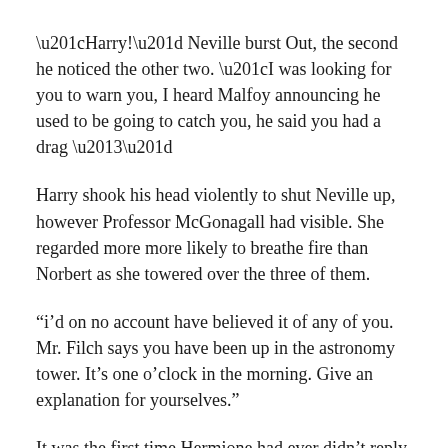“Harry!” Neville burst Out, the second he noticed the other two. “I was looking for you to warn you, I heard Malfoy announcing he used to be going to catch you, he said you had a drag –”
Harry shook his head violently to shut Neville up, however Professor McGonagall had visible. She regarded more more likely to breathe fire than Norbert as she towered over the three of them.
“i’d on no account have believed it of any of you. Mr. Filch says you have been up in the astronomy tower. It’s one o’clock in the morning. Give an explanation for yourselves.”
It was the first time Hermione had ever didn’t reply a teacher’s query. She was gazing her slippers, as still as a statue.